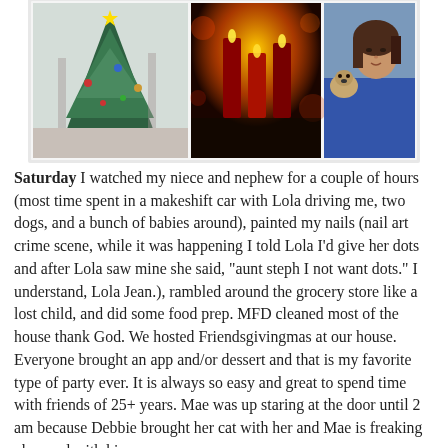[Figure (photo): Three photos side by side: a decorated Christmas tree in a shopping mall, red candles with bokeh background, and a woman with a dog]
Saturday I watched my niece and nephew for a couple of hours (most time spent in a makeshift car with Lola driving me, two dogs, and a bunch of babies around), painted my nails (nail art crime scene, while it was happening I told Lola I'd give her dots and after Lola saw mine she said, "aunt steph I not want dots." I understand, Lola Jean.), rambled around the grocery store like a lost child, and did some food prep. MFD cleaned most of the house thank God. We hosted Friendsgivingmas at our house. Everyone brought an app and/or dessert and that is my favorite type of party ever. It is always so easy and great to spend time with friends of 25+ years. Mae was up staring at the door until 2 am because Debbie brought her cat with her and Mae is freaking obsessed with him.
[Figure (photo): Three photos side by side: painted fingernails on a teal background with text, a cupcake or dessert, and a cozy room scene with warm lighting]